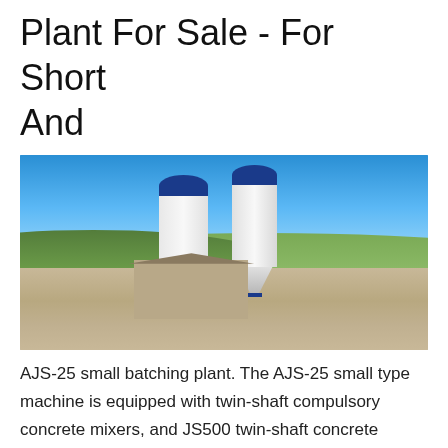Plant For Sale - For Short And
[Figure (photo): Outdoor photo of an AJS-25 small concrete batching plant with two tall white cylindrical silos with blue tops, set against a blue sky with tree-covered hills in the background, and a gravel/dirt ground area with construction infrastructure visible.]
AJS-25 small batching plant. The AJS-25 small type machine is equipped with twin-shaft compulsory concrete mixers, and JS500 twin-shaft concrete mixers are usually used as standard configuration.The production quality of